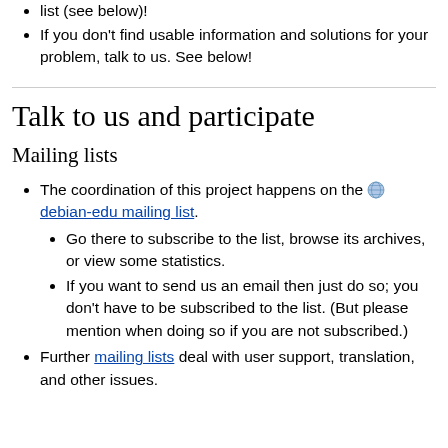list (see below)!
If you don't find usable information and solutions for your problem, talk to us. See below!
Talk to us and participate
Mailing lists
The coordination of this project happens on the [globe icon] debian-edu mailing list.
Go there to subscribe to the list, browse its archives, or view some statistics.
If you want to send us an email then just do so; you don't have to be subscribed to the list. (But please mention when doing so if you are not subscribed.)
Further mailing lists deal with user support, translation, and other issues.